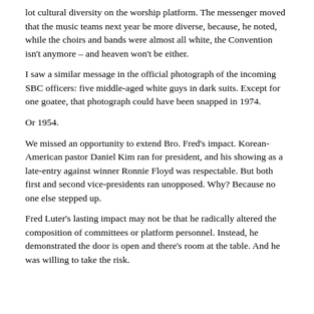lot cultural diversity on the worship platform. The messenger moved that the music teams next year be more diverse, because, he noted, while the choirs and bands were almost all white, the Convention isn't anymore – and heaven won't be either.
I saw a similar message in the official photograph of the incoming SBC officers: five middle-aged white guys in dark suits. Except for one goatee, that photograph could have been snapped in 1974.
Or 1954.
We missed an opportunity to extend Bro. Fred's impact. Korean-American pastor Daniel Kim ran for president, and his showing as a late-entry against winner Ronnie Floyd was respectable. But both first and second vice-presidents ran unopposed. Why? Because no one else stepped up.
Fred Luter's lasting impact may not be that he radically altered the composition of committees or platform personnel. Instead, he demonstrated the door is open and there's room at the table. And he was willing to take the risk.